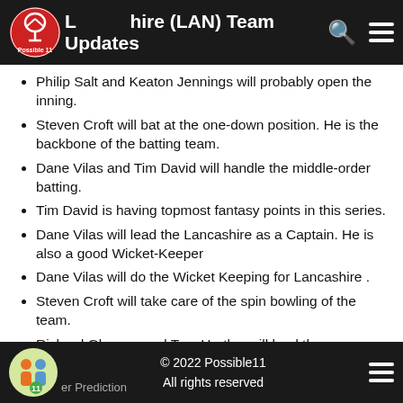Lancashire (LAN) Team Updates
Philip Salt and Keaton Jennings will probably open the inning.
Steven Croft will bat at the one-down position. He is the backbone of the batting team.
Dane Vilas and Tim David will handle the middle-order batting.
Tim David is having topmost fantasy points in this series.
Dane Vilas will lead the Lancashire as a Captain. He is also a good Wicket-Keeper
Dane Vilas will do the Wicket Keeping for Lancashire .
Steven Croft will take care of the spin bowling of the team.
Richard Gleeson and Tom Hartley will lead the pace attack of his team.
© 2022 Possible11
All rights reserved